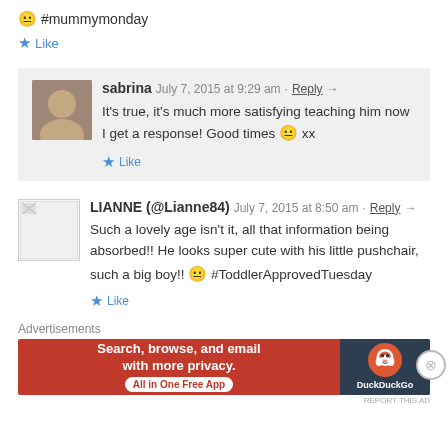😐 #mummymonday
★ Like
sabrina   July 7, 2015 at 9:29 am  ·  Reply →
It's true, it's much more satisfying teaching him now I get a response! Good times 😐 xx
★ Like
LIANNE (@Lianne84)   July 7, 2015 at 8:50 am  ·  Reply →
Such a lovely age isn't it, all that information being absorbed!! He looks super cute with his little pushchair, such a big boy!! 😐 #ToddlerApprovedTuesday
★ Like
Advertisements
[Figure (screenshot): DuckDuckGo advertisement banner: orange background with text 'Search, browse, and email with more privacy. All in One Free App' and DuckDuckGo duck logo on dark background.]